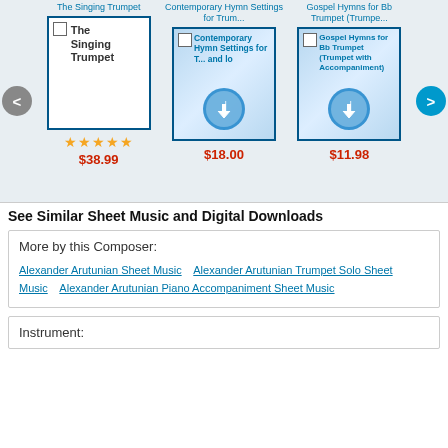[Figure (screenshot): Carousel of sheet music products: The Singing Trumpet ($38.99, 5 stars), Contemporary Hymn Settings for Trum... ($18.00, digital download), Gospel Hymns for Bb Trumpet (Trumpe... ($11.98, digital download). Left arrow (<) and right arrow (>) navigation buttons.]
See Similar Sheet Music and Digital Downloads
More by this Composer:
Alexander Arutunian Sheet Music   Alexander Arutunian Trumpet Solo Sheet Music   Alexander Arutunian Piano Accompaniment Sheet Music
Instrument: